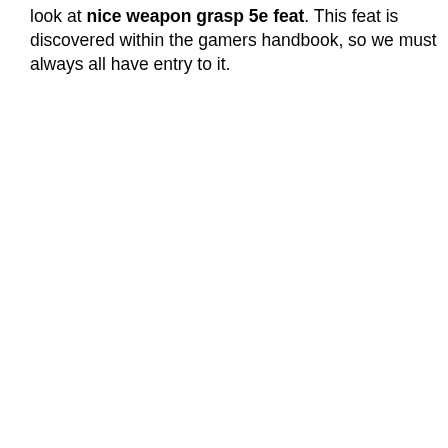look at nice weapon grasp 5e feat. This feat is discovered within the gamers handbook, so we must always all have entry to it.